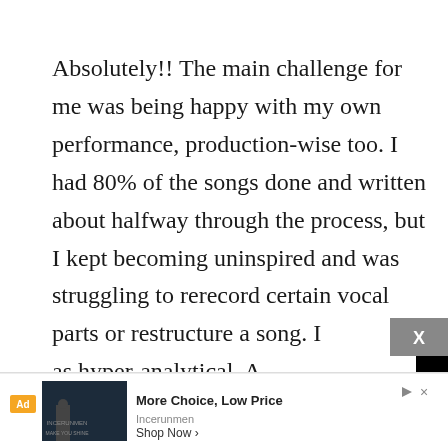Absolutely!! The main challenge for me was being happy with my own performance, production-wise too. I had 80% of the songs done and written about halfway through the process, but I kept becoming uninspired and was struggling to rerecord certain vocal parts or restructure a song. I [tend to describe myself] as hyper-analytical. A[s someone who really] pays attention to eve[ry little detail when] constructing it, I ten[d to overthink stuff] listening won't even [notice or care about those] details. I remember I had to go back and forth with my
[Figure (screenshot): Black video player overlay with loading spinner and controls showing 00:35 timestamp, with X close button in top right]
[Figure (screenshot): Advertisement bar at bottom showing 'Ad' label, dark image with figure, text 'More Choice, Low Price' by Incerunmen with 'Shop Now >' CTA and close/play buttons]